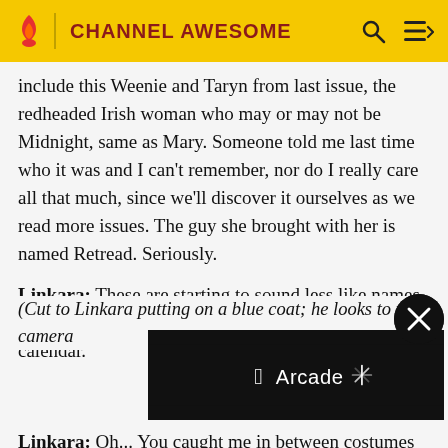CHANNEL AWESOME
include this Weenie and Taryn from last issue, the redheaded Irish woman who may or may not be Midnight, same as Mary. Someone told me last time who it was and I can't remember, nor do I really care all that much, since we'll discover it ourselves as we read more issues. The guy she brought with her is named Retread. Seriously.
Linkara: These are starting to sound less like names and more like the writer had a word-of-the-day calendar.
(Cut to Linkara putting on a blue coat; he looks to the camera
[Figure (screenshot): Apple Arcade advertisement banner on black background with Apple logo and spinning loader icon]
Linkara: Oh... You caught me in between costumes here... Uh, we'll be right back.